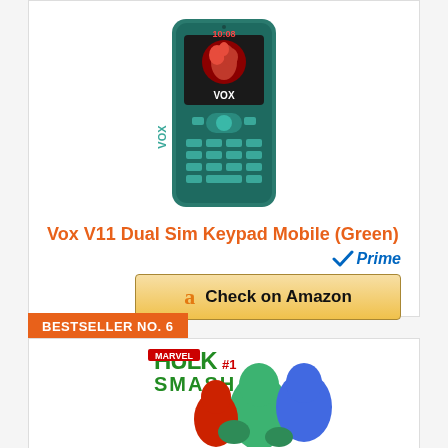[Figure (photo): Vox V11 dual SIM keypad mobile phone in green color]
Vox V11 Dual Sim Keypad Mobile (Green)
[Figure (logo): Amazon Prime badge with checkmark and 'Prime' text in blue italic]
[Figure (other): Check on Amazon button with Amazon logo]
BESTSELLER NO. 6
[Figure (photo): Hulk and Agents of SMASH cartoon characters illustration]